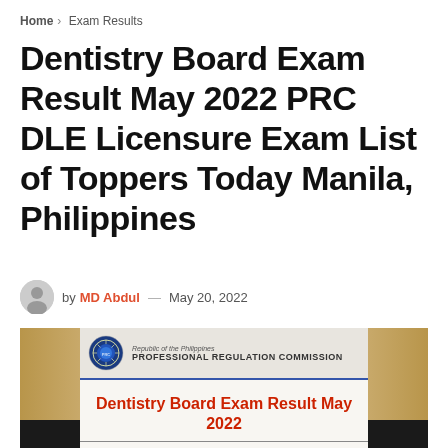Home > Exam Results
Dentistry Board Exam Result May 2022 PRC DLE Licensure Exam List of Toppers Today Manila, Philippines
by MD Abdul — May 20, 2022
[Figure (photo): PRC (Professional Regulation Commission) official document header for Dentistry Board Exam Result May 2022, showing the PRC seal/logo, 'Republic of the Philippines' text, 'PROFESSIONAL REGULATION COMMISSION' title, and red text reading 'Dentistry Board Exam Result May 2022' on a document with wooden frame background and black accents.]